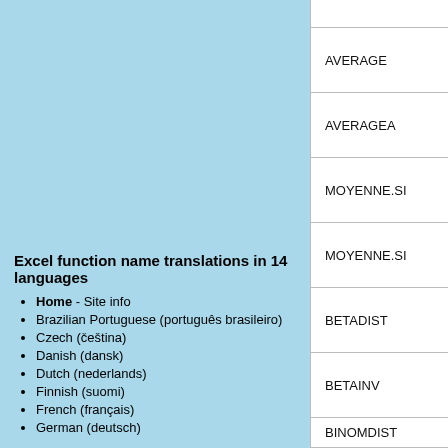Excel function name translations in 14 languages
Home - Site info
Brazilian Portuguese (português brasileiro)
Czech (čeština)
Danish (dansk)
Dutch (nederlands)
Finnish (suomi)
French (français)
German (deutsch)
| AVERAGE |
| AVERAGEA |
| MOYENNE.SI |
| MOYENNE.SI |
| BETADIST |
| BETAINV |
| BINOMDIST |